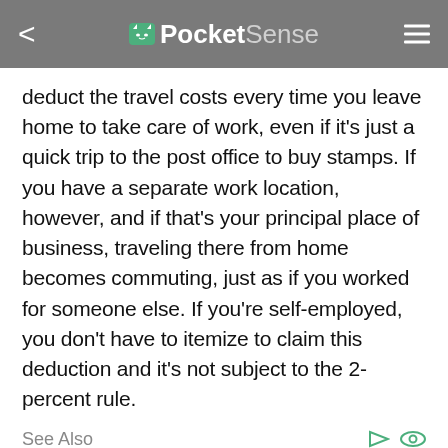PocketSense
deduct the travel costs every time you leave home to take care of work, even if it's just a quick trip to the post office to buy stamps. If you have a separate work location, however, and if that's your principal place of business, traveling there from home becomes commuting, just as if you worked for someone else. If you're self-employed, you don't have to itemize to claim this deduction and it's not subject to the 2-percent rule.
See Also
IRS ONE TIME FORGIVENESS